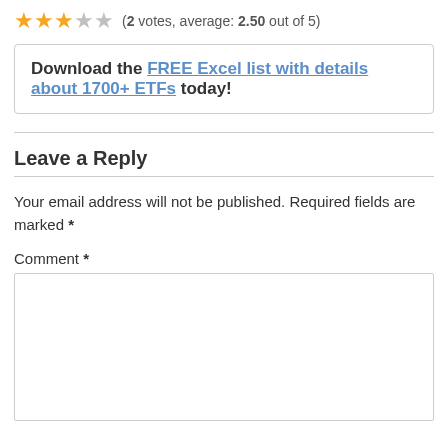(2 votes, average: 2.50 out of 5)
Download the FREE Excel list with details about 1700+ ETFs today!
Leave a Reply
Your email address will not be published. Required fields are marked *
Comment *